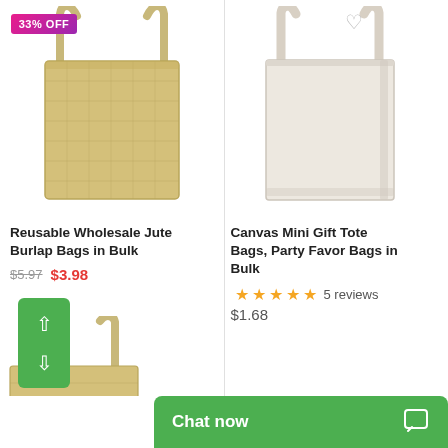[Figure (photo): Jute burlap tote bag, tan/beige color, with a 33% OFF badge overlay in pink-purple gradient]
Reusable Wholesale Jute Burlap Bags in Bulk
$5.97  $3.98
[Figure (photo): Canvas mini gift tote bag, off-white/cream color, with a heart (favorite) icon overlay]
Canvas Mini Gift Tote Bags, Party Favor Bags in Bulk
★★★★★ 5 reviews
$1.68
[Figure (photo): Partial view of a third tote bag at bottom left, tan/beige color]
Chat now